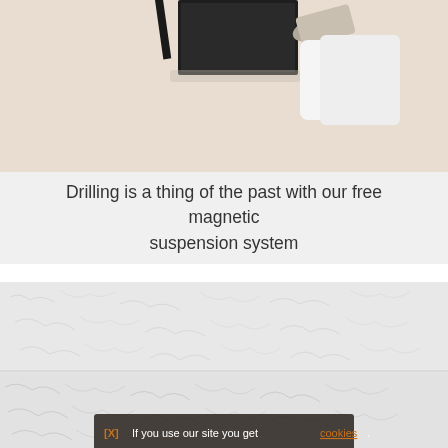[Figure (photo): Partial photo of a person holding or hanging a framed picture on a beige/tan wall, showing hands and a dark frame.]
Drilling is a thing of the past with our free magnetic suspension system
[Figure (photo): Textured white stucco or plaster wall surface, shown in two slightly different tones separated by a horizontal seam.]
[X] If you use our site you get cookies.